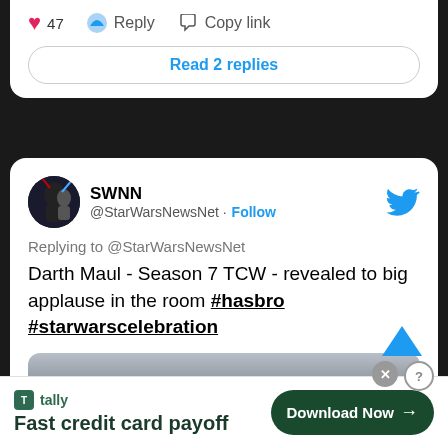[Figure (screenshot): Partial Twitter/X tweet card showing 47 likes, Reply, Copy link buttons, and a 'Read 2 replies' button]
47  Reply  Copy link
Read 2 replies
[Figure (screenshot): Twitter/X tweet card from SWNN @StarWarsNewsNet with Follow button and Twitter bird icon. Replying to @StarWarsNewsNet. Tweet text: Darth Maul - Season 7 TCW - revealed to big applause in the room #hasbro #starwarscelebration. Partial embedded image below.]
SWNN
@StarWarsNewsNet · Follow
Replying to @StarWarsNewsNet
Darth Maul - Season 7 TCW - revealed to big applause in the room #hasbro #starwarscelebration
[Figure (screenshot): Tally advertisement banner: 'Fast credit card payoff' with Download Now button, close X and info ? icons]